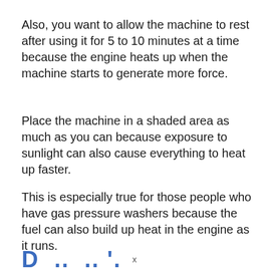Also, you want to allow the machine to rest after using it for 5 to 10 minutes at a time because the engine heats up when the machine starts to generate more force.
Place the machine in a shaded area as much as you can because exposure to sunlight can also cause everything to heat up faster.
This is especially true for those people who have gas pressure washers because the fuel can also build up heat in the engine as it runs.
D...